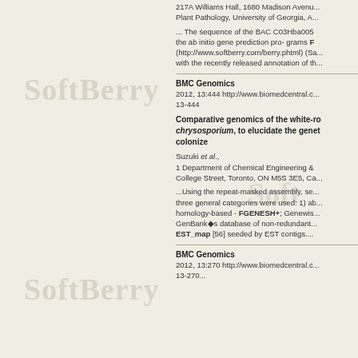217A Williams Hall, 1680 Madison Avenue, Plant Pathology, University of Georgia, A...
... The sequence of the BAC C03Hba005 the ab initio gene prediction pro- grams FGENESH (http://www.softberry.com/berry.phtml) (Sa... with the recently released annotation of th...
BMC Genomics
2012, 13:444 http://www.biomedcentral.c... 13-444
Comparative genomics of the white-ro... chrysosporium, to elucidate the genet... colonize
Suzuki et al., 1 Department of Chemical Engineering & College Street, Toronto, ON M5S 3E5, Ca...
...Using the repeat-masked assembly, se... three general categories were used: 1) ab... homology-based - FGENESH+; Genewis... GenBank's database of non-redundant... EST_map [56] seeded by EST contigs....
BMC Genomics
2012, 13:270 http://www.biomedcentral.c...